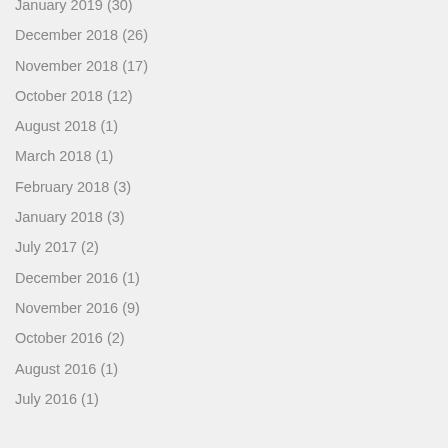January 2019 (30)
December 2018 (26)
November 2018 (17)
October 2018 (12)
August 2018 (1)
March 2018 (1)
February 2018 (3)
January 2018 (3)
July 2017 (2)
December 2016 (1)
November 2016 (9)
October 2016 (2)
August 2016 (1)
July 2016 (1)